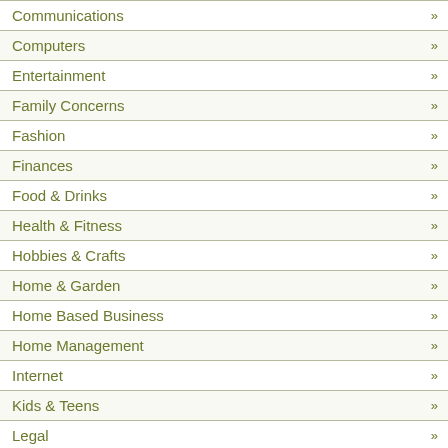Communications »
Computers »
Entertainment »
Family Concerns »
Fashion »
Finances »
Food & Drinks »
Health & Fitness »
Hobbies & Crafts »
Home & Garden »
Home Based Business »
Home Management »
Internet »
Kids & Teens »
Legal »
Marketing »
Marriage & Wedding »
Parenting »